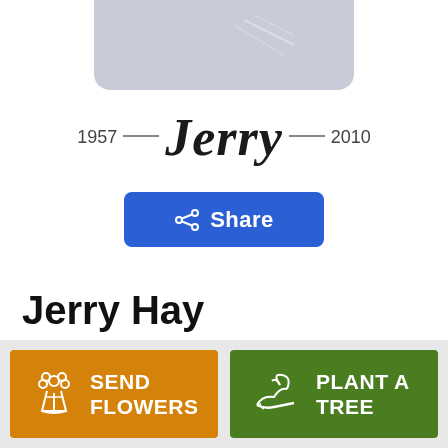[Figure (photo): Partial profile photo placeholder with light blue-gray background, partially visible at top of page]
1957 — Jerry — 2010
Share
Jerry Hay
December 19, 1957 — September 20, 2010
SEND FLOWERS
PLANT A TREE